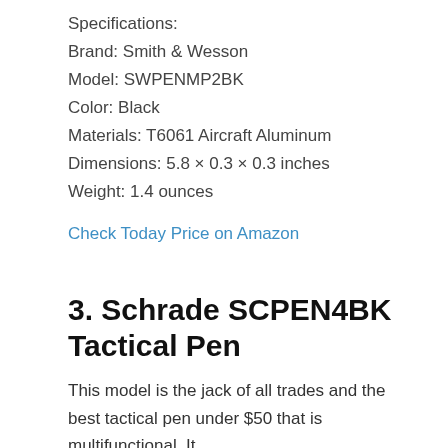Specifications:
Brand: Smith & Wesson
Model: SWPENMP2BK
Color: Black
Materials: T6061 Aircraft Aluminum
Dimensions: 5.8 × 0.3 × 0.3 inches
Weight: 1.4 ounces
Check Today Price on Amazon
3. Schrade SCPEN4BK Tactical Pen
This model is the jack of all trades and the best tactical pen under $50 that is multifunctional. It